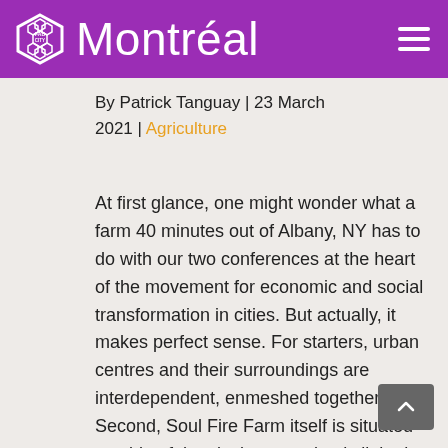Fab City Montréal
By Patrick Tanguay | 23 March 2021 | Agriculture
At first glance, one might wonder what a farm 40 minutes out of Albany, NY has to do with our two conferences at the heart of the movement for economic and social transformation in cities. But actually, it makes perfect sense. For starters, urban centres and their surroundings are interdependent, enmeshed together. Second, Soul Fire Farm itself is situated outside of the city but completely linked to it, as its mission is born from the needs and dreams of its urban community.